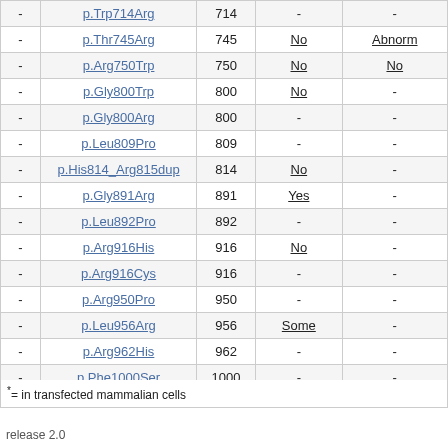|  | Variant | Position | Functional impact* | Clinical significance |
| --- | --- | --- | --- | --- |
| - | p.Trp714Arg | 714 | - | - |
| - | p.Thr745Arg | 745 | No | Abnorm |
| - | p.Arg750Trp | 750 | No | No |
| - | p.Gly800Trp | 800 | No | - |
| - | p.Gly800Arg | 800 | - | - |
| - | p.Leu809Pro | 809 | - | - |
| - | p.His814_Arg815dup | 814 | No | - |
| - | p.Gly891Arg | 891 | Yes | - |
| - | p.Leu892Pro | 892 | - | - |
| - | p.Arg916His | 916 | No | - |
| - | p.Arg916Cys | 916 | - | - |
| - | p.Arg950Pro | 950 | - | - |
| - | p.Leu956Arg | 956 | Some | - |
| - | p.Arg962His | 962 | - | - |
| - | p.Phe1000Ser | 1000 | - | - |
*= in transfected mammalian cells
release 2.0